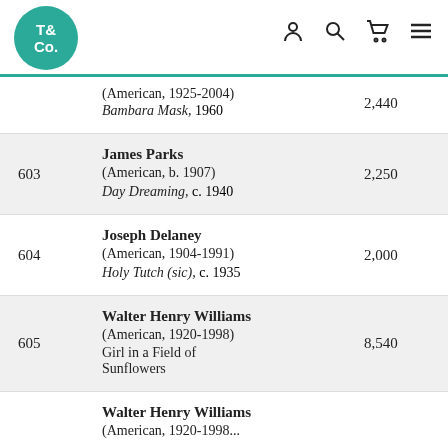T&Co logo with navigation icons
| Lot | Artist / Artwork | Price |
| --- | --- | --- |
|  | (American, 1925-2004)
Bambara Mask, 1960 | 2,440 |
| 603 | James Parks
(American, b. 1907)
Day Dreaming, c. 1940 | 2,250 |
| 604 | Joseph Delaney
(American, 1904-1991)
Holy Tutch (sic), c. 1935 | 2,000 |
| 605 | Walter Henry Williams
(American, 1920-1998)
Girl in a Field of Sunflowers | 8,540 |
| 606 | Walter Henry Williams
(American, 1920-1998... | 876... |